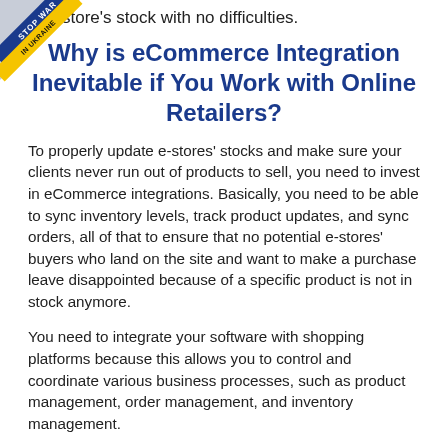[Figure (illustration): Stop War in Ukraine ribbon/badge in top-left corner, blue and yellow diagonal banner]
te e-store's stock with no difficulties.
Why is eCommerce Integration Inevitable if You Work with Online Retailers?
To properly update e-stores' stocks and make sure your clients never run out of products to sell, you need to invest in eCommerce integrations. Basically, you need to be able to sync inventory levels, track product updates, and sync orders, all of that to ensure that no potential e-stores' buyers who land on the site and want to make a purchase leave disappointed because of a specific product is not in stock anymore.
You need to integrate your software with shopping platforms because this allows you to control and coordinate various business processes, such as product management, order management, and inventory management.